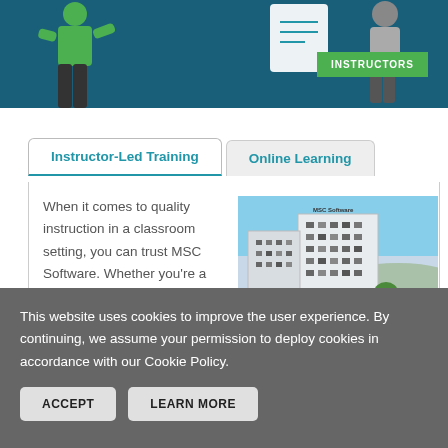[Figure (illustration): Top banner with teal background, green person figure on left, clipboard/document icon, and green INSTRUCTORS badge on right]
Instructor-Led Training
Online Learning
When it comes to quality instruction in a classroom setting, you can trust MSC Software. Whether you're a student looking to
[Figure (photo): Photo of a modern white multi-story office building (MSC Software headquarters) against a blue sky]
This website uses cookies to improve the user experience. By continuing, we assume your permission to deploy cookies in accordance with our Cookie Policy.
ACCEPT
LEARN MORE